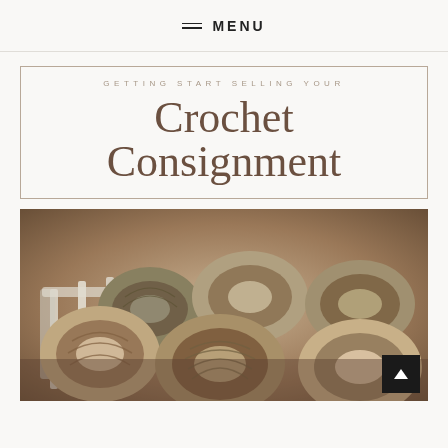MENU
GETTING START SELLING YOUR
Crochet
Consignment
[Figure (photo): Photograph of multiple skeins of brown/tan yarn arranged in a white wooden basket, viewed from above at an angle. Sepia-toned color palette.]